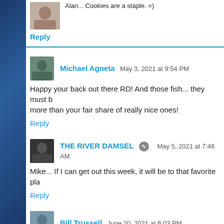Alan... Cookies are a staple. =)
Reply
Michael Agneta  May 3, 2021 at 9:54 PM
Happy your back out there RD! And those fish... they must be more than your fair share of really nice ones!
Reply
THE RIVER DAMSEL  May 5, 2021 at 7:46 AM
Mike... If I can get out this week, it will be to that favorite pla
Reply
Bill Trussell  June 20, 2021 at 6:03 PM
Emily
I wonder how I missed this post??? Those are some unbeli